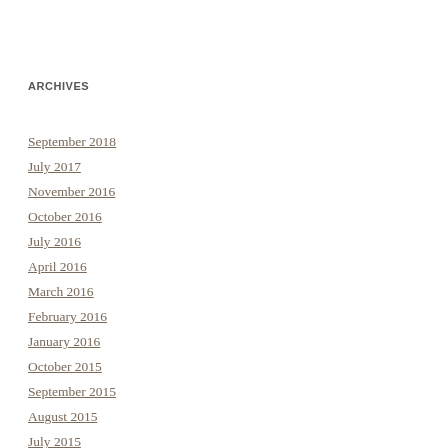ARCHIVES
September 2018
July 2017
November 2016
October 2016
July 2016
April 2016
March 2016
February 2016
January 2016
October 2015
September 2015
August 2015
July 2015
June 2015